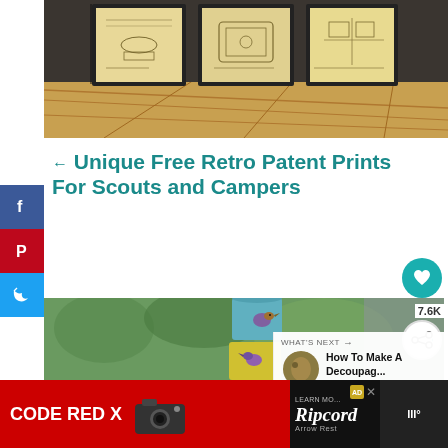[Figure (photo): Three framed retro patent prints displayed on a wooden floor against a dark brick wall background]
← Unique Free Retro Patent Prints For Scouts and Campers
[Figure (photo): Decorative tin can bird feeder hanging outdoors with birds depicted on painted cans, blurred green foliage background]
[Figure (photo): What's Next thumbnail: How To Make A Decoupag...]
[Figure (advertisement): Code Red X / Ripcord Arrow Rest advertisement banner]